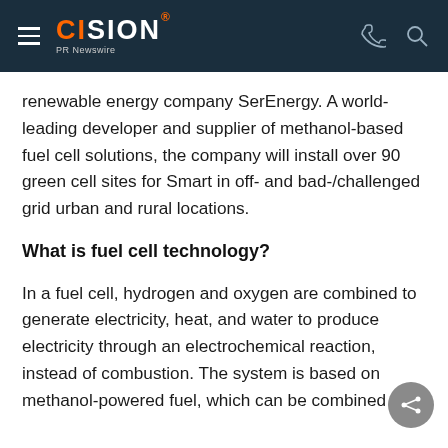CISION PR Newswire
renewable energy company SerEnergy. A world-leading developer and supplier of methanol-based fuel cell solutions, the company will install over 90 green cell sites for Smart in off- and bad-/challenged grid urban and rural locations.
What is fuel cell technology?
In a fuel cell, hydrogen and oxygen are combined to generate electricity, heat, and water to produce electricity through an electrochemical reaction, instead of combustion. The system is based on methanol-powered fuel, which can be combined